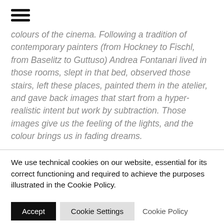[Figure (other): Hamburger menu icon — three horizontal black bars stacked vertically]
colours of the cinema. Following a tradition of contemporary painters (from Hockney to Fischl, from Baselitz to Guttuso) Andrea Fontanari lived in those rooms, slept in that bed, observed those stairs, left these places, painted them in the atelier, and gave back images that start from a hyper-realistic intent but work by subtraction. Those images give us the feeling of the lights, and the colour brings us in fading dreams.
We use technical cookies on our website, essential for its correct functioning and required to achieve the purposes illustrated in the Cookie Policy.
Accept   Cookie Settings   Cookie Policy